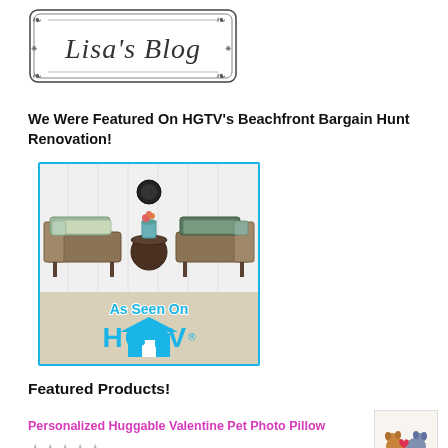[Figure (logo): Lisa's Blog decorative logo with ornate border frame]
We Were Featured On HGTV's Beachfront Bargain Hunt Renovation!
[Figure (photo): Outdoor patio furniture scene with two lounge chairs, a small table with flowers, against a white wall background. Overlaid with 'As Seen On HGTV' logo in blue text.]
Featured Products!
Personalized Huggable Valentine Pet Photo Pillow
[Figure (photo): Small product thumbnail image of a Valentine pet photo pillow with dogs and hearts]
★★★★★ (star rating)
$25.00  $45.00